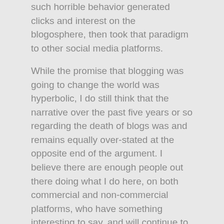such horrible behavior generated clicks and interest on the blogosphere, then took that paradigm to other social media platforms.
While the promise that blogging was going to change the world was hyperbolic, I do still think that the narrative over the past five years or so regarding the death of blogs was and remains equally over-stated at the opposite end of the argument. I believe there are enough people out there doing what I do here, on both commercial and non-commercial platforms, who have something interesting to say, and will continue to do so, and will continue to engage readers.
Whether we call our platforms "blogs" or "websites" at this point is kind of immaterial. I